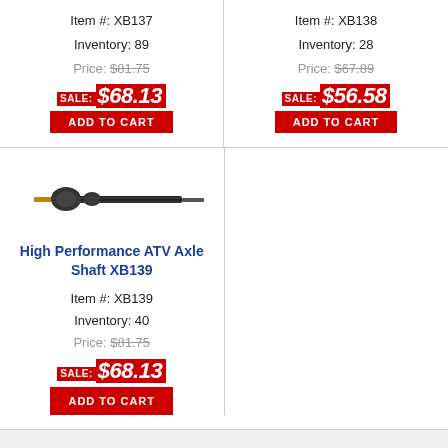Item #: XB137
Inventory: 89
Price: $81.75
SALE: $68.13
ADD TO CART
Item #: XB138
Inventory: 28
Price: $67.89
SALE: $56.58
ADD TO CART
[Figure (photo): High Performance ATV Axle Shaft product photo, showing a long drive shaft with CV joints]
High Performance ATV Axle Shaft XB139
Item #: XB139
Inventory: 40
Price: $81.75
SALE: $68.13
ADD TO CART